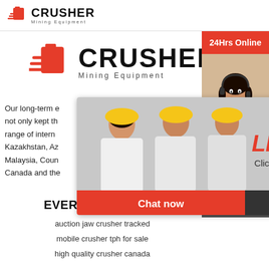[Figure (logo): Crusher Mining Equipment logo - small version in top header bar]
[Figure (logo): Crusher Mining Equipment logo - large centered version]
Our long-term e... not only kept th... range of intern... Kazakhstan, Az... Malaysia, Coun... Canada and the...
[Figure (photo): Live Chat popup overlay showing workers in hard hats with text LIVE CHAT, Click for a Free Consultation, Chat now and Chat later buttons]
EVERYONE WANTS
auction jaw crusher tracked
mobile crusher tph for sale
high quality crusher canada
24Hrs Online
[Figure (photo): Customer service agent photo - woman with headset]
Need questions & suggestion?
Chat Now
Enquiry
limingjlmofen@sina.com